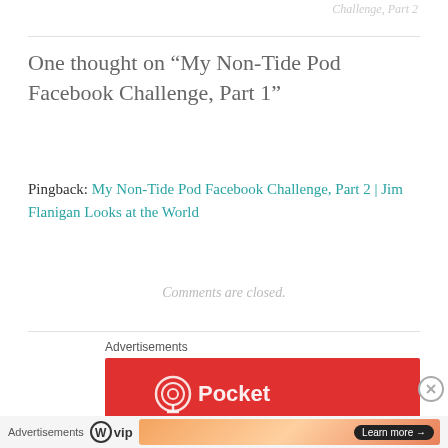Challenge, Part 2
One thought on “My Non-Tide Pod Facebook Challenge, Part 1”
Pingback: My Non-Tide Pod Facebook Challenge, Part 2 | Jim Flanigan Looks at the World
Comments are closed.
Advertisements
[Figure (other): Red advertisement banner for Pocket Casts podcast app, partially visible at bottom of main content area]
Advertisements
[Figure (logo): WordPress VIP logo with circle W icon]
[Figure (other): Advertisement banner with gradient orange/peach background and a Learn more button]